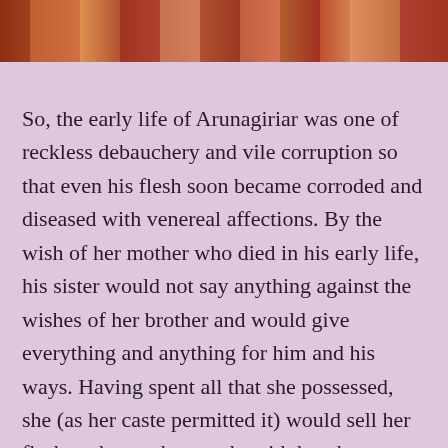[Figure (photo): Partial view of a colorful image at the top, showing warm red and orange tones, appearing to be a religious or cultural scene.]
So, the early life of Arunagiriar was one of reckless debauchery and vile corruption so that even his flesh soon became corroded and diseased with venereal affections. By the wish of her mother who died in his early life, his sister would not say anything against the wishes of her brother and would give everything and anything for him and his ways. Having spent all that she possessed, she (as her caste permitted it) would sell her flesh to those who sought with her the pleasures of sex for the sake of earning the wherewithal for the den that...